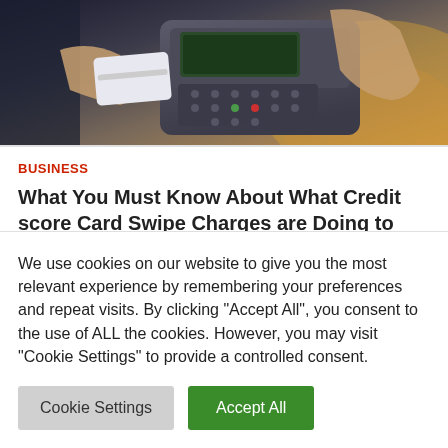[Figure (photo): A person swiping a credit card on a payment terminal/POS machine, held by another person. Close-up shot with warm background tones.]
BUSINESS
What You Must Know About What Credit score Card Swipe Charges are Doing to Your Pockets?
iasabacklink  8 hours ago
We use cookies on our website to give you the most relevant experience by remembering your preferences and repeat visits. By clicking "Accept All", you consent to the use of ALL the cookies. However, you may visit "Cookie Settings" to provide a controlled consent.
Cookie Settings  Accept All